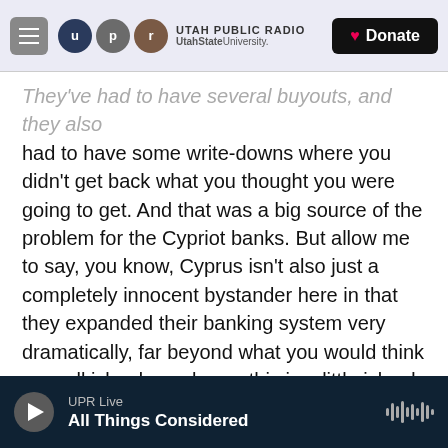UTAH PUBLIC RADIO — UtahState University — Donate
They've had to have several buyouts, and they also had to have some write-downs where you didn't get back what you thought you were going to get. And that was a big source of the problem for the Cypriot banks. But allow me to say, you know, Cyprus isn't also just a completely innocent bystander here in that they expanded their banking system very dramatically, far beyond what you would think a small island, you know, this is a little island in the Mediterranean Sea.

And, you know, their bank assets were something like eight times their gross domestic product. So they really, really got into banking and maybe they…
UPR Live — All Things Considered